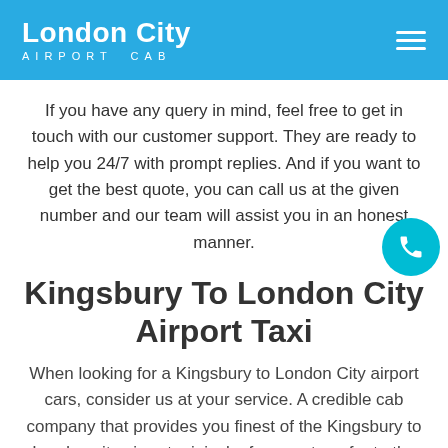London City AIRPORT CAB
If you have any query in mind, feel free to get in touch with our customer support. They are ready to help you 24/7 with prompt replies. And if you want to get the best quote, you can call us at the given number and our team will assist you in an honest manner.
Kingsbury To London City Airport Taxi
When looking for a Kingsbury to London City airport cars, consider us at your service. A credible cab company that provides you finest of the Kingsbury to London city airport minicabs for your transfer to the London City airport. We are the cheapest fare service